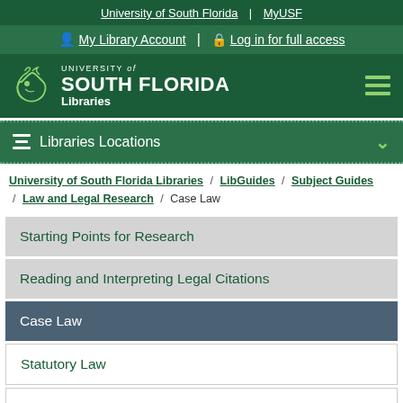University of South Florida | MyUSF
My Library Account | Log in for full access
[Figure (logo): University of South Florida Libraries logo with bull mascot icon and hamburger menu]
Libraries Locations
University of South Florida Libraries / LibGuides / Subject Guides / Law and Legal Research / Case Law
Starting Points for Research
Reading and Interpreting Legal Citations
Case Law
Statutory Law
Regulatory/Administrative Law